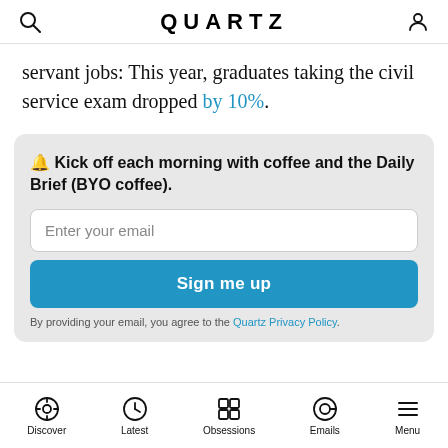QUARTZ
servant jobs: This year, graduates taking the civil service exam dropped by 10%.
🔔 Kick off each morning with coffee and the Daily Brief (BYO coffee).

Enter your email

Sign me up

By providing your email, you agree to the Quartz Privacy Policy.
Discover | Latest | Obsessions | Emails | Menu